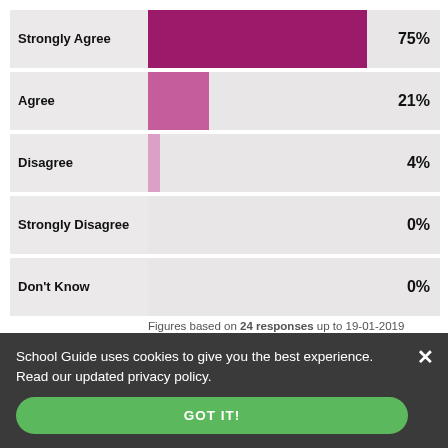[Figure (bar-chart): Survey responses]
Figures based on 24 responses up to 19-01-2019
2. My child feels safe at this school
School Guide uses cookies to give you the best experience. Read our updated privacy policy.
GOT IT!